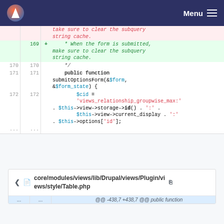Menu
[Figure (screenshot): Code diff view showing PHP code changes around lines 169-172 in a Drupal views file]
core/modules/views/lib/Drupal/views/Plugin/views/style/Table.php
@@ -438,7 +438,7 @@ public function